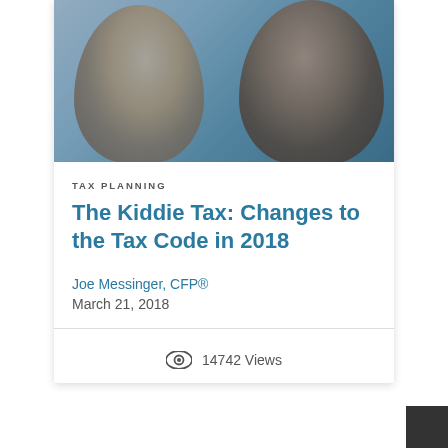[Figure (photo): Two smiling children — a light-skinned boy on the left and a dark-skinned girl with curly hair on the right — photographed close-up with a blue-tinted overlay.]
TAX PLANNING
The Kiddie Tax: Changes to the Tax Code in 2018
Joe Messinger, CFP®
March 21, 2018
14742 Views